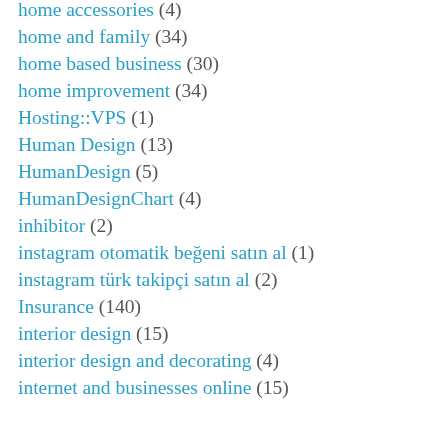home accessories (4)
home and family (34)
home based business (30)
home improvement (34)
Hosting::VPS (1)
Human Design (13)
HumanDesign (5)
HumanDesignChart (4)
inhibitor (2)
instagram otomatik beğeni satın al (1)
instagram türk takipçi satın al (2)
Insurance (140)
interior design (15)
interior design and decorating (4)
internet and businesses online (15)